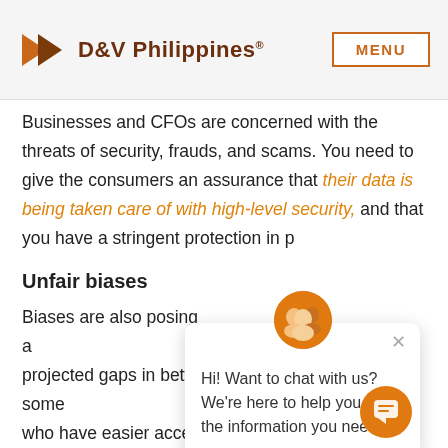D&V Philippines® | MENU
Businesses and CFOs are concerned with the threats of security, frauds, and scams. You need to give the consumers an assurance that their data is being taken care of with high-level security, and that you have a stringent protection in place.
Unfair biases
Biases are also posing a threat, creating projected gaps in between markets, as there are some who have easier access to technology and banking and some who don't have the same chances. If open finance